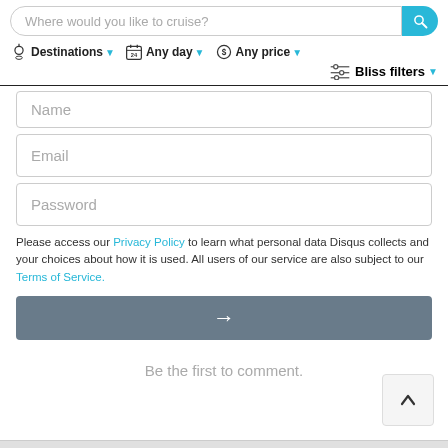[Figure (screenshot): Website navigation bar with search input 'Where would you like to cruise?', a cyan search button, and filter dropdowns: Destinations, Any day, Any price, Bliss filters]
Name
Email
Password
Please access our Privacy Policy to learn what personal data Disqus collects and your choices about how it is used. All users of our service are also subject to our Terms of Service.
[Figure (other): Gray submit button with white right-arrow icon]
Be the first to comment.